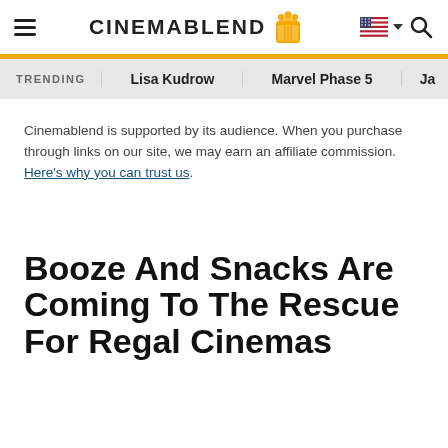CinemaBlend
TRENDING   Lisa Kudrow   Marvel Phase 5   Ja...
Cinemablend is supported by its audience. When you purchase through links on our site, we may earn an affiliate commission. Here's why you can trust us.
Booze And Snacks Are Coming To The Rescue For Regal Cinemas